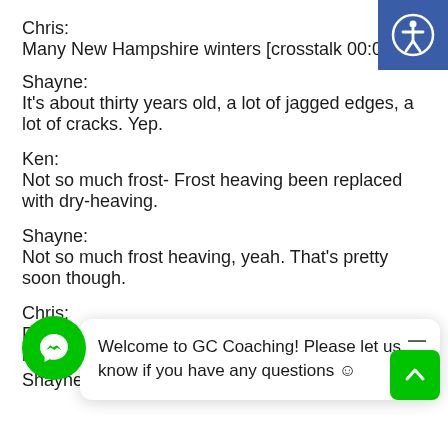Chris:
Many New Hampshire winters [crosstalk 00:02:4
Shayne:
It's about thirty years old, a lot of jagged edges, a lot of cracks. Yep.
Ken:
Not so much frost- Frost heaving been replaced with dry-heaving.
Shayne:
Not so much frost heaving, yeah. That's pretty soon though.
Chris:
Frost heavi b way
Shayne:
Welcome to GC Coaching! Please let us know if you have any questions ☺